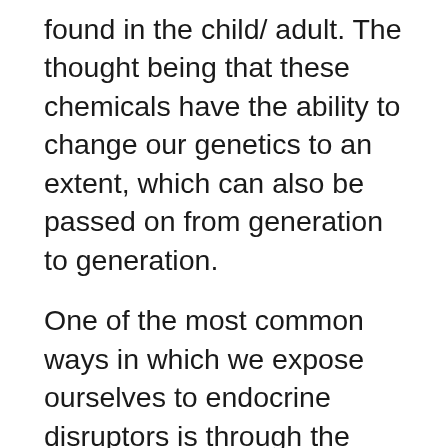found in the child/ adult. The thought being that these chemicals have the ability to change our genetics to an extent, which can also be passed on from generation to generation.
One of the most common ways in which we expose ourselves to endocrine disruptors is through the water we drink. Though many of us (men included) do not take birth control pills or other medications that affect hormonal levels, we likely are consuming them just by drinking water. Waste water containing excreted drugs plus improperly